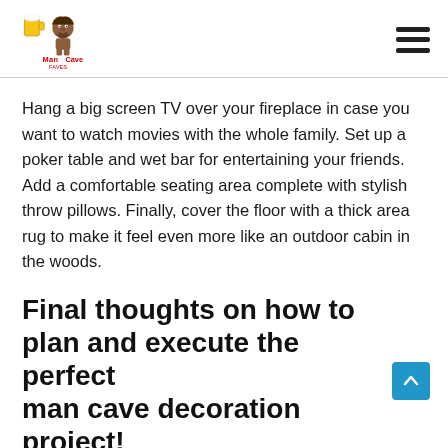Man Cave Faves logo and hamburger menu
Hang a big screen TV over your fireplace in case you want to watch movies with the whole family. Set up a poker table and wet bar for entertaining your friends. Add a comfortable seating area complete with stylish throw pillows. Finally, cover the floor with a thick area rug to make it feel even more like an outdoor cabin in the woods.
Final thoughts on how to plan and execute the perfect man cave decoration project!